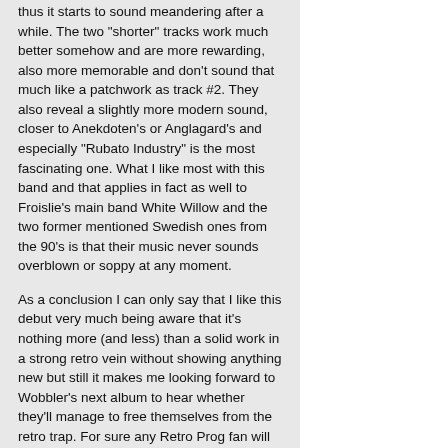thus it starts to sound meandering after a while. The two "shorter" tracks work much better somehow and are more rewarding, also more memorable and don't sound that much like a patchwork as track #2. They also reveal a slightly more modern sound, closer to Anekdoten's or Anglagard's and especially "Rubato Industry" is the most fascinating one. What I like most with this band and that applies in fact as well to Froislie's main band White Willow and the two former mentioned Swedish ones from the 90's is that their music never sounds overblown or soppy at any moment.
As a conclusion I can only say that I like this debut very much being aware that it's nothing more (and less) than a solid work in a strong retro vein without showing anything new but still it makes me looking forward to Wobbler's next album to hear whether they'll manage to free themselves from the retro trap. For sure any Retro Prog fan will love this one